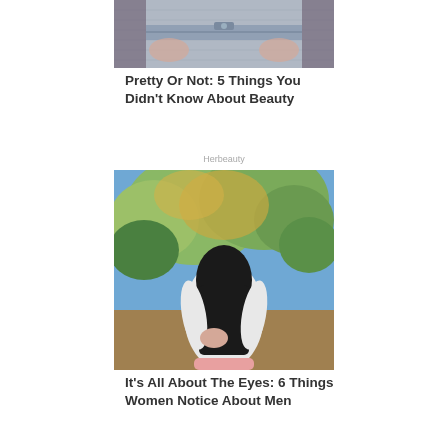[Figure (photo): Cropped torso photo of person wearing denim overalls or skirt with lace sleeves, close-up of midsection]
Pretty Or Not: 5 Things You Didn't Know About Beauty
Herbeauty
[Figure (photo): Woman with long dark hair wearing a white long-sleeve top, photographed from behind in an outdoor setting with trees in autumn colors]
It's All About The Eyes: 6 Things Women Notice About Men